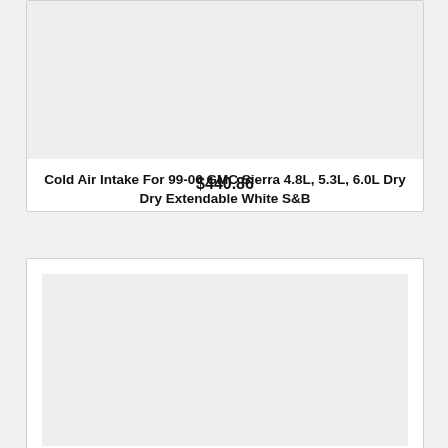[Figure (photo): Product image placeholder (light gray rectangle) for Cold Air Intake]
Cold Air Intake For 99-06 GMC Sierra 4.8L, 5.3L, 6.0L Dry Dry Extendable White S&B
$440.86
[Figure (photo): Product image placeholder (light gray rectangle) for second product]